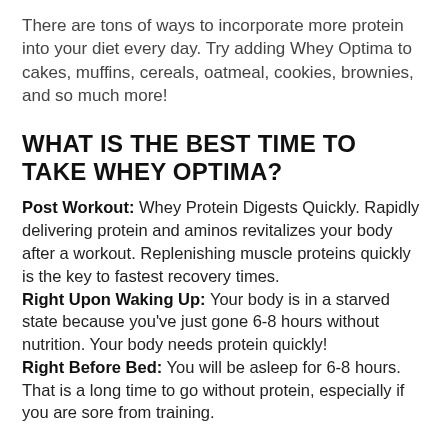There are tons of ways to incorporate more protein into your diet every day. Try adding Whey Optima to cakes, muffins, cereals, oatmeal, cookies, brownies, and so much more!
WHAT IS THE BEST TIME TO TAKE WHEY OPTIMA?
Post Workout: Whey Protein Digests Quickly. Rapidly delivering protein and aminos revitalizes your body after a workout. Replenishing muscle proteins quickly is the key to fastest recovery times.
Right Upon Waking Up: Your body is in a starved state because you've just gone 6-8 hours without nutrition. Your body needs protein quickly!
Right Before Bed: You will be asleep for 6-8 hours. That is a long time to go without protein, especially if you are sore from training.